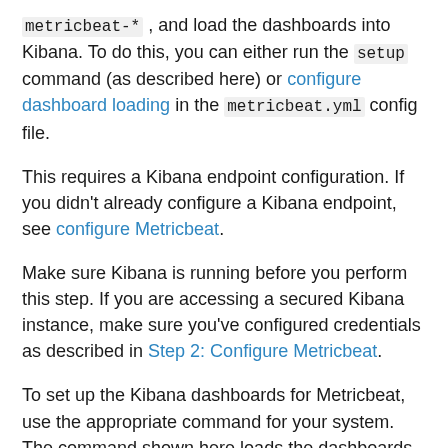metricbeat-* , and load the dashboards into Kibana. To do this, you can either run the setup command (as described here) or configure dashboard loading in the metricbeat.yml config file.
This requires a Kibana endpoint configuration. If you didn't already configure a Kibana endpoint, see configure Metricbeat.
Make sure Kibana is running before you perform this step. If you are accessing a secured Kibana instance, make sure you've configured credentials as described in Step 2: Configure Metricbeat.
To set up the Kibana dashboards for Metricbeat, use the appropriate command for your system. The command shown here loads the dashboards from the Metricbeat package. For more options, such as loading customized dashboards, see Importing Existing Beat Dashboards in the Beats Developer Guide. If you've